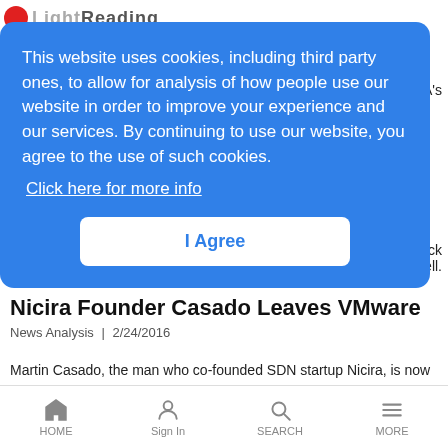Light Reading
This website uses cookies, including third party ones, to allow for analysis of how people use our website in order to improve your experience and our services. By continuing to use our website, you agree to the use of such cookies.
Click here for more info
I Agree
ADVA's
ck
all Cell.
Nicira Founder Casado Leaves VMware
News Analysis | 2/24/2016
Martin Casado, the man who co-founded SDN startup Nicira, is now leaving VMware, the company that paid $1.26 billion for his firm, to become a venture capitalist.
HOME  Sign In  SEARCH  MORE